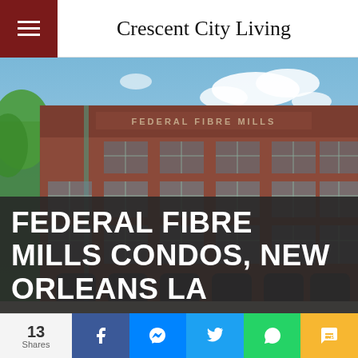Crescent City Living
[Figure (photo): Exterior photo of Federal Fibre Mills, a large multi-story red brick building with arched windows and signage reading FEDERAL FIBRE MILLS on the facade, set against a partly cloudy sky with green trees visible on the left.]
FEDERAL FIBRE MILLS CONDOS, NEW ORLEANS LA
13 Shares